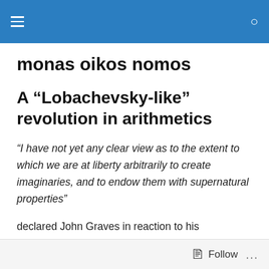monas oikos nomos — navigation header
monas oikos nomos
A “Lobachevsky-like” revolution in arithmetics
“I have not yet any clear view as to the extent to which we are at liberty arbitrarily to create imaginaries, and to endow them with supernatural properties”
declared John Graves in reaction to his mathematician friend’s invention of the quaternions (Hamilton 1843).
Follow …